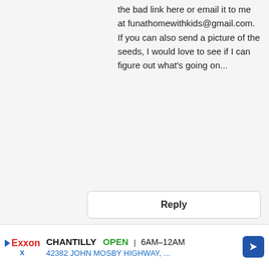the bad link here or email it to me at funathomewithkids@gmail.com. If you can also send a picture of the seeds, I would love to see if I can figure out what's going on...
Reply
October 30, 2013 at 3:11 PM
Genius. It's so hard to find fun, different sensory activities for my little guy as he is still eating everything. thanks for this.
Reply
[Figure (infographic): Exxon advertisement banner: CHANTILLY OPEN 6AM-12AM, 42382 JOHN MOSBY HIGHWAY, ... with Exxon logo and navigation arrow icon]